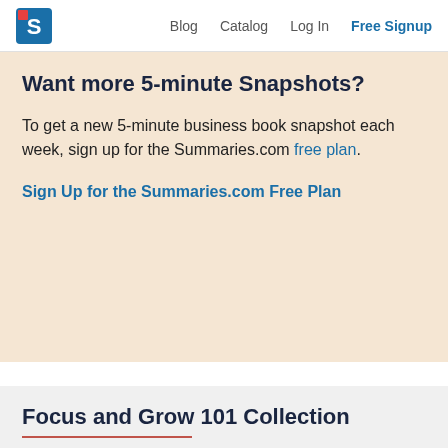Blog  Catalog  Log In  Free Signup
Want more 5-minute Snapshots?
To get a new 5-minute business book snapshot each week, sign up for the Summaries.com free plan.
Sign Up for the Summaries.com Free Plan
Focus and Grow 101 Collection
If you enjoyed this summary, here is a collection of